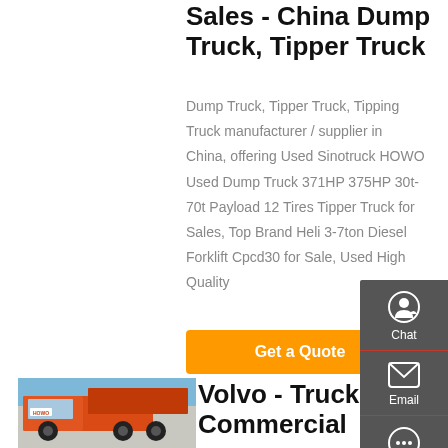Sales - China Dump Truck, Tipper Truck
Dump Truck, Tipper Truck, Tipping Truck manufacturer / supplier in China, offering Used Sinotruck HOWO Used Dump Truck 371HP 375HP 30t-70t Payload 12 Tires Tipper Truck for Sales, Top Brand Heli 3-7ton Diesel Forklift Cpcd30 for Sale, Used High Quality
Get a Quote
[Figure (photo): Red Sinotruck HOWO dump truck parked in front of a building]
Volvo - Trucks & Commercial